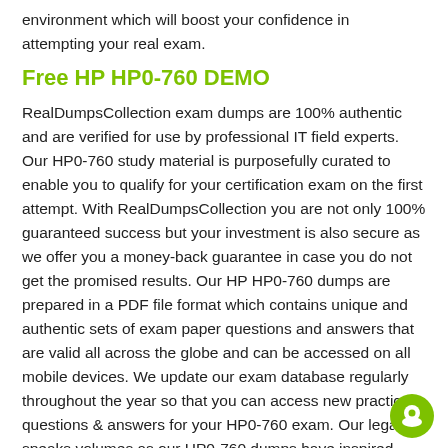environment which will boost your confidence in attempting your real exam.
Free HP HP0-760 DEMO
RealDumpsCollection exam dumps are 100% authentic and are verified for use by professional IT field experts. Our HP0-760 study material is purposefully curated to enable you to qualify for your certification exam on the first attempt. With RealDumpsCollection you are not only 100% guaranteed success but your investment is also secure as we offer you a money-back guarantee in case you do not get the promised results. Our HP HP0-760 dumps are prepared in a PDF file format which contains unique and authentic sets of exam paper questions and answers that are valid all across the globe and can be accessed on all mobile devices. We update our exam database regularly throughout the year so that you can access new practice questions & answers for your HP0-760 exam. Our legacy speaks volumes as our HP0-760 dumps have inspired thousands of students all across the world to build their future in the IT field.